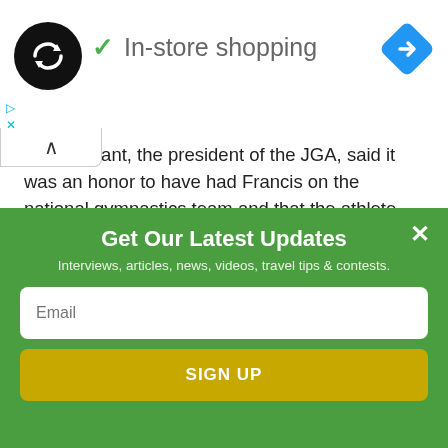[Figure (logo): Black circular logo with double arrow infinity symbol, checkmark and 'In-store shopping' text, blue diamond navigation icon on right]
Nicole Grant, the president of the JGA, said it was an honor to have had Francis on the national gymnastics team and that the athlete had made a significant contribution to the sport in Jamaica in a short time. As the first female
Get Our Latest Updates
Interviews, articles, news, videos, travel tips & contests.
Email
SIGN UP